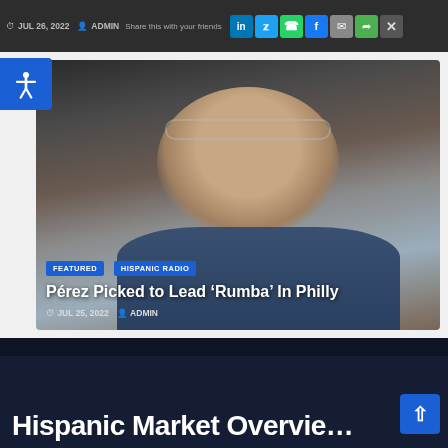JUL 26, 2022  ADMIN  Share this with your friends
[Figure (photo): Close-up photo of a smiling man with a beard and glasses, wearing a dark shirt, chin resting on hand]
FEATURED
HISPANIC RADIO
Pérez Picked to Lead ‘Rumba’ In Philly
JUL 25, 2022  ADMIN
Hispanic Market Overvie…